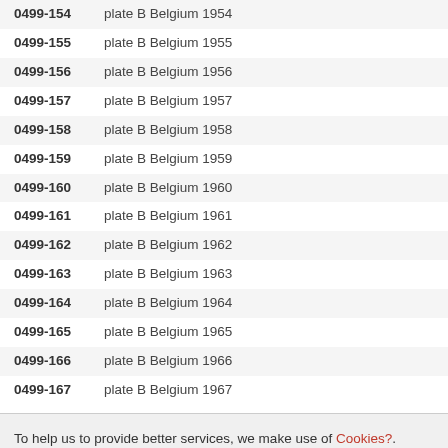0499-154   plate B Belgium 1954
0499-155   plate B Belgium 1955
0499-156   plate B Belgium 1956
0499-157   plate B Belgium 1957
0499-158   plate B Belgium 1958
0499-159   plate B Belgium 1959
0499-160   plate B Belgium 1960
0499-161   plate B Belgium 1961
0499-162   plate B Belgium 1962
0499-163   plate B Belgium 1963
0499-164   plate B Belgium 1964
0499-165   plate B Belgium 1965
0499-166   plate B Belgium 1966
0499-167   plate B Belgium 1967
To help us to provide better services, we make use of Cookies?. When you continue to use our website, you automatically accept the use of cookies. No problem!